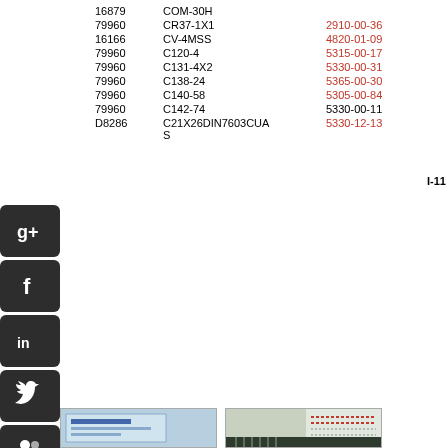|  |  |
| --- | --- |
| 16879 | COM-30H |  |
| 79960 | CR37-1X1 | 2910-00-36 |
| 16166 | CV-4MSS | 4820-01-09 |
| 79960 | C120-4 | 5315-00-17 |
| 79960 | C131-4X2 | 5330-00-31 |
| 79960 | C138-24 | 5365-00-30 |
| 79960 | C140-58 | 5305-00-84 |
| 79960 | C142-74 | 5330-00-11 |
| D8286 | C21X26DIN7603CUAS | 5330-12-13 |
I-11
[Figure (other): Social media icons: Google+, Facebook, LinkedIn, Twitter, People/group icon, and Shop Now button with StumbleUpon icon]
[Figure (photo): Two product images at bottom of page]